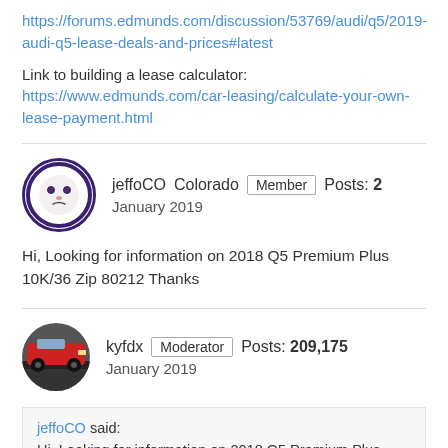https://forums.edmunds.com/discussion/53769/audi/q5/2019-audi-q5-lease-deals-and-prices#latest
Link to building a lease calculator:
https://www.edmunds.com/car-leasing/calculate-your-own-lease-payment.html
jeffoCO  Colorado  Member  Posts: 2
January 2019
Hi, Looking for information on 2018 Q5 Premium Plus 10K/36 Zip 80212 Thanks
kyfdx  Moderator  Posts: 209,175
January 2019
jeffoCO said:
Hi, Looking for information on 2018 Q5 Premium Plus